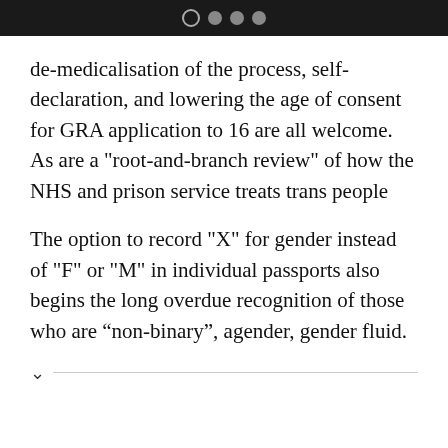● ● ● ●
de-medicalisation of the process, self-declaration, and lowering the age of consent for GRA application to 16 are all welcome. As are a "root-and-branch review" of how the NHS and prison service treats trans people
The option to record "X" for gender instead of "F" or "M" in individual passports also begins the long overdue recognition of those who are “non-binary”, agender, gender fluid.